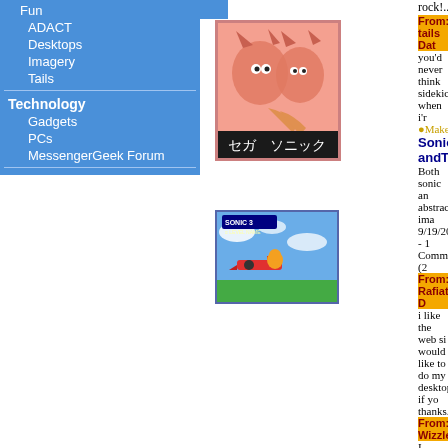Fun
ADACT
Desktops
Imagery
Tails
Technology
Gadgets
PCs
MessengerGeek Forum
Other jK sites
CandyHearts
[Figure (illustration): Sonic and Tails Japanese illustration with pink/red tinted image, Japanese text at bottom]
[Figure (screenshot): Sonic 3 game screenshot showing Tails flying with airplane while Sonic is present, blue sky background]
rock!............
From: tails  Da
you'd never think sidedick when i'r
Make/View
Sonic andTa
Both sonic an abstract ima
9/19/2003 - 1
Comments (2
From: Rafiat D
i like the web si would like to do my desktop if yo thanks........
From: Wizzles
I remember thees (Pause)...Well no way. Cool can's t when theese cam
Make/View
Tails flying h airplane
Tails is flying while Sonic t controls (fron
9/19/2003 - 1
Comment (1
From: Stephan8
I like pictures lik would be great f picture,don't you
Make/View